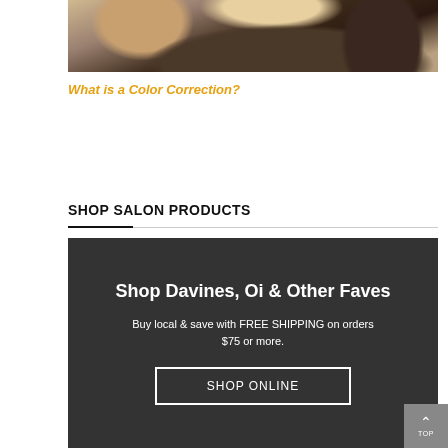[Figure (photo): Partial view of a person's hair, showing close-up of scalp and dark hair, with what appears to be hair coloring product applied]
What is a Color Correction?
SHOP SALON PRODUCTS
[Figure (infographic): Dark gray promotional banner with text 'Shop Davines, Oi & Other Faves', subtext 'Buy local & save with FREE SHIPPING on orders $75 or more.' and a 'SHOP ONLINE' button]